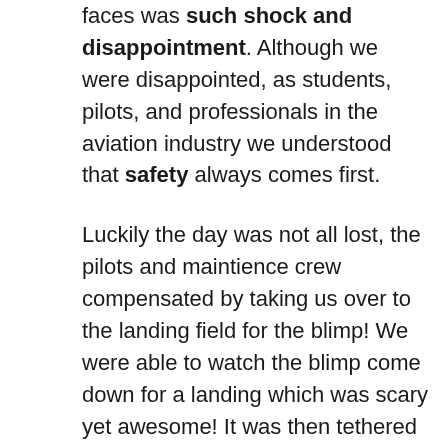faces was such shock and disappointment. Although we were disappointed, as students, pilots, and professionals in the aviation industry we understood that safety always comes first.
Luckily the day was not all lost, the pilots and maintience crew compensated by taking us over to the landing field for the blimp! We were able to watch the blimp come down for a landing which was scary yet awesome! It was then tethered to a mast and stabilized by distributing sandbags throughout the gondola. We were able to meet three different pilots and speak with them about how the blimp flys and also what it takes to actually become a blimp pilot! We each took turns going inside the gondola and being able to sit in the pilots seat! Even though we were disappointed about the flight being cancelled; just the opportunity to be so close to the blimp and also really get to see and speak with the crew was an unreal